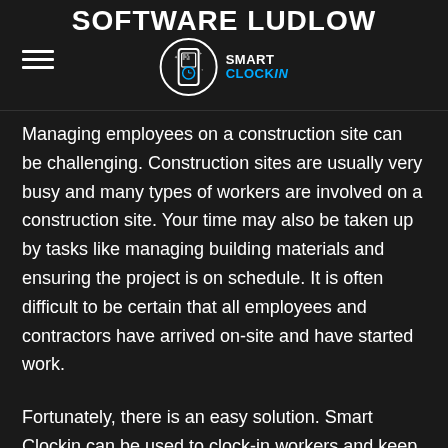SOFTWARE LUDLOW
[Figure (logo): Smart Clockin logo: circular badge with phone/QR icon, beside text 'SMART CLOCKIN' in white and blue]
Managing employees on a construction site can be challenging. Construction sites are usually very busy and many types of workers are involved on a construction site. Your time may also be taken up by tasks like managing building materials and ensuring the project is on schedule. It is often difficult to be certain that all employees and contractors have arrived on-site and have started work.
Fortunately, there is an easy solution. Smart Clockin can be used to clock-in workers and keep track of their activities throughout the